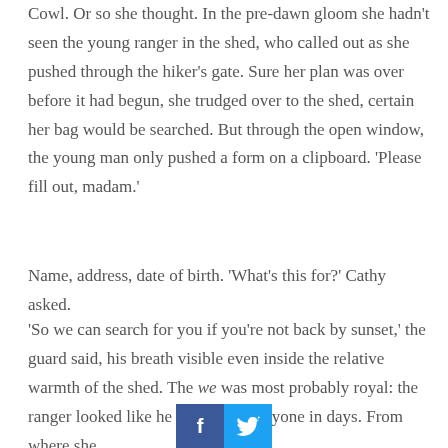Cowl. Or so she thought. In the pre-dawn gloom she hadn't seen the young ranger in the shed, who called out as she pushed through the hiker's gate. Sure her plan was over before it had begun, she trudged over to the shed, certain her bag would be searched. But through the open window, the young man only pushed a form on a clipboard. 'Please fill out, madam.'
Name, address, date of birth. 'What's this for?' Cathy asked.
'So we can search for you if you're not back by sunset,' the guard said, his breath visible even inside the relative warmth of the shed. The we was most probably royal: the ranger looked like he hadn't seen anyone in days. From where she